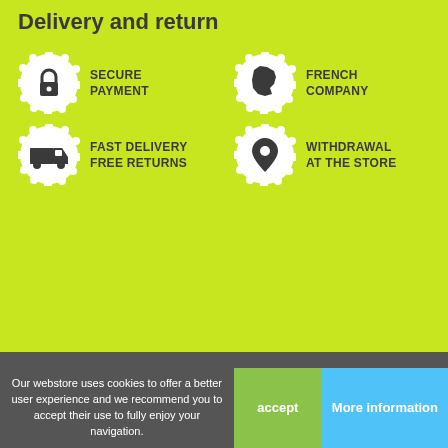Delivery and return
[Figure (infographic): Four icons on green background: lock (Secure Payment), France map (French Company), delivery truck (Fast Delivery Free Returns), location pin (Withdrawal at the Store)]
DETAILS OF THIS LED PRODUCT
LED High beam headlights kit for Opel Vectra C 2002-2009
MORE INFO
Reference: PACKLEDVECTRACRT
PRESENTATION OF THE LED HIGH BEAM HEADLIGHTS KIT FOR OPEL VECTRA C 200...
Our webstore uses cookies to offer a better user experience and we recommend you to accept their use to fully enjoy your navigation.